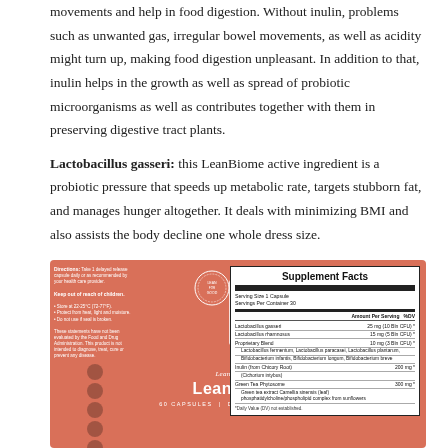movements and help in food digestion. Without inulin, problems such as unwanted gas, irregular bowel movements, as well as acidity might turn up, making food digestion unpleasant. In addition to that, inulin helps in the growth as well as spread of probiotic microorganisms as well as contributes together with them in preserving digestive tract plants.
Lactobacillus gasseri: this LeanBiome active ingredient is a probiotic pressure that speeds up metabolic rate, targets stubborn fat, and manages hunger altogether. It deals with minimizing BMI and also assists the body decline one whole dress size.
[Figure (photo): LeanBiome product label on salmon/coral colored packaging showing Supplement Facts panel, brand logo, directions, icons, barcode, and distributor information. Supplement Facts lists: Lactobacillus gasseri 25mg (10 Bln CFU), Lactobacillus rhamnosus 15mg (5 Bln CFU), Proprietary Blend 10mg (3 Bln CFU) including Lactobacillus fermentum, Lactobacillus paracasei, Lactobacillus plantarum, Bifidobacterium infantis, Bifidobacterium longum, Bifidobacterium breve, Inulin (from Chicory Root) 200mg, Green Tea Phytosome 300mg, and phospholipid complex from sunflowers. Serving Size 1 Capsule, Servings Per Container 30.]